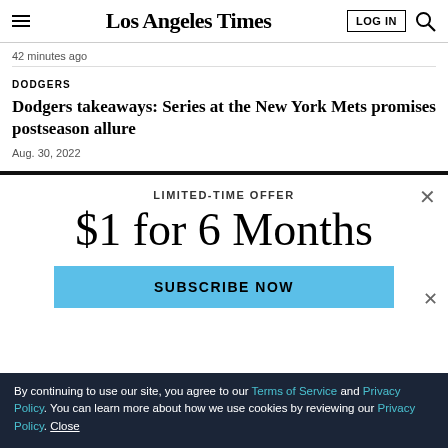Los Angeles Times
42 minutes ago
DODGERS
Dodgers takeaways: Series at the New York Mets promises postseason allure
Aug. 30, 2022
LIMITED-TIME OFFER
$1 for 6 Months
SUBSCRIBE NOW
By continuing to use our site, you agree to our Terms of Service and Privacy Policy. You can learn more about how we use cookies by reviewing our Privacy Policy. Close